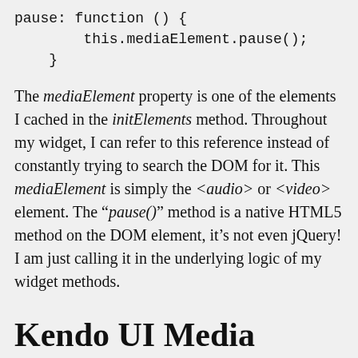pause: function () {
        this.mediaElement.pause();
    }
The mediaElement property is one of the elements I cached in the initElements method. Throughout my widget, I can refer to this reference instead of constantly trying to search the DOM for it. This mediaElement is simply the <audio> or <video> element. The "pause()" method is a native HTML5 method on the DOM element, it's not even jQuery! I am just calling it in the underlying logic of my widget methods.
Kendo UI Media